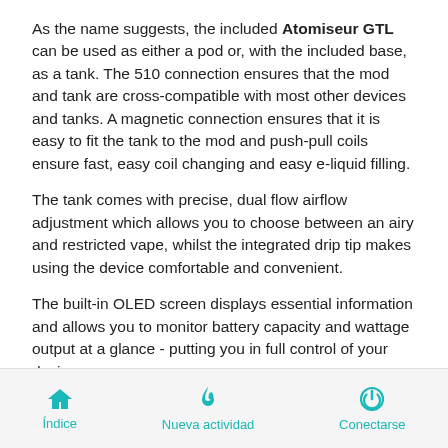As the name suggests, the included Atomiseur GTL can be used as either a pod or, with the included base, as a tank. The 510 connection ensures that the mod and tank are cross-compatible with most other devices and tanks. A magnetic connection ensures that it is easy to fit the tank to the mod and push-pull coils ensure fast, easy coil changing and easy e-liquid filling.
The tank comes with precise, dual flow airflow adjustment which allows you to choose between an airy and restricted vape, whilst the integrated drip tip makes using the device comfortable and convenient.
The built-in OLED screen displays essential information and allows you to monitor battery capacity and wattage output at a glance - putting you in full control of your device.
Just come to Eleaf.fr and get more information!
Índice   Nueva actividad   Conectarse